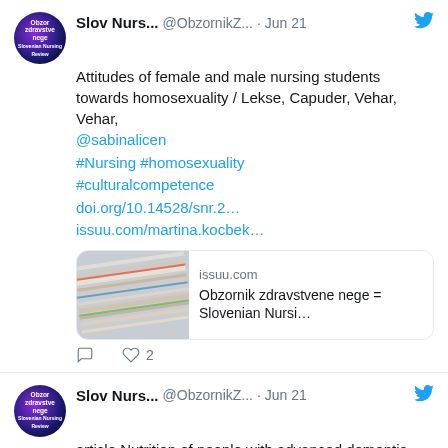Slov Nurs... @ObzornikZ... · Jun 21 — Attitudes of female and male nursing students towards homosexuality / Lekse, Capuder, Vehar, Vehar, @sabinalicen #Nursing #homosexuality #culturalcompetence doi.org/10.14528/snr.2... issuu.com/martina.kocbek...
[Figure (screenshot): Twitter card preview showing issuu.com link with image of stacked papers/journals and text: Obzornik zdravstvene nege = Slovenian Nursi...]
Slov Nurs... @ObzornikZ... · Jun 21 — article Nutrition of people with advanced dementia /Florjancic, Milavec Kapun #malnutrition #feedingproblems #longtermcare #Nursing #dementia